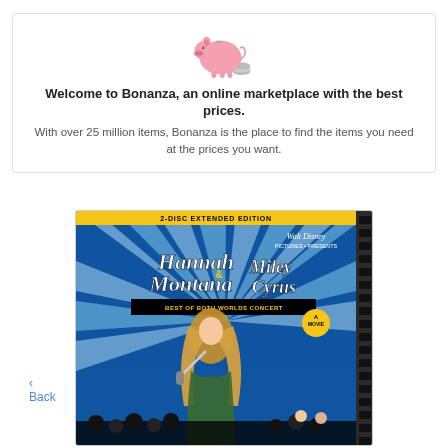[Figure (illustration): Pink piggy bank with coins icon]
Welcome to Bonanza, an online marketplace with the best prices.
With over 25 million items, Bonanza is the place to find the items you need at the prices you want.
‹ Back
[Figure (photo): Hannah Montana & Miley Cyrus: Best of Both Worlds Concert - 2-Disc Extended Edition DVD cover showing performer with microphone against blue ray burst background, film strip on right edge, audience silhouettes at bottom]